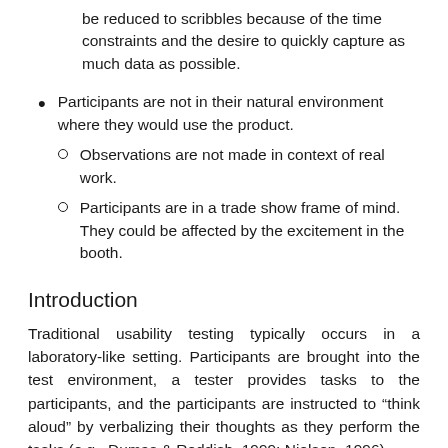Questionnaires and storyboards can be reduced to scribbles because of the time constraints and the desire to quickly capture as much data as possible.
Participants are not in their natural environment where they would use the product.
Observations are not made in context of real work.
Participants are in a trade show frame of mind. They could be affected by the excitement in the booth.
Introduction
Traditional usability testing typically occurs in a laboratory-like setting. Participants are brought into the test environment, a tester provides tasks to the participants, and the participants are instructed to “think aloud” by verbalizing their thoughts as they perform the tasks (e.g., Dumas & Reddish, 1999; Nielsen, 1996).